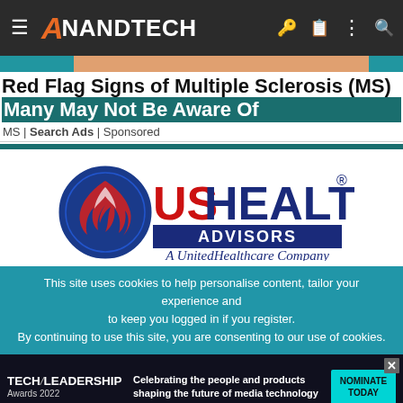AnandTech
Red Flag Signs of Multiple Sclerosis (MS) Many May Not Be Aware Of
MS | Search Ads | Sponsored
[Figure (logo): USHEALTH Advisors — A UnitedHealthcare Company logo]
This site uses cookies to help personalise content, tailor your experience and to keep you logged in if you register. By continuing to use this site, you are consenting to our use of cookies.
[Figure (infographic): TECH LEADERSHIP Awards 2022 banner ad — Celebrating the people and products shaping the future of media technology. Nominate Today button.]